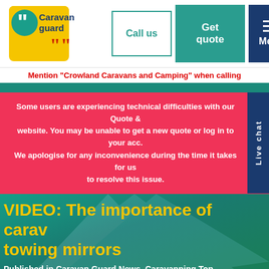[Figure (logo): Caravan Guard logo with yellow speech bubble and red quotation marks]
Call us
Get quote
Menu
Mention "Crowland Caravans and Camping" when calling
Some users are experiencing technical difficulties with our Quote & website. You may be unable to get a new quote or log in to your acc. We apologise for any inconvenience during the time it takes for us to resolve this issue.
VIDEO: The importance of caravanning towing mirrors
Published in Caravan Guard News, Caravanning Top Tips, Videos on 26/07/2018  - 28 Comments
In this video we answer the simple question, do I need towing mirrors for my caravan?